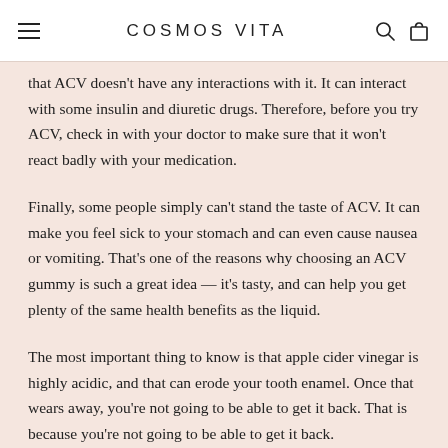COSMOS VITA
that ACV doesn't have any interactions with it. It can interact with some insulin and diuretic drugs. Therefore, before you try ACV, check in with your doctor to make sure that it won't react badly with your medication.
Finally, some people simply can't stand the taste of ACV. It can make you feel sick to your stomach and can even cause nausea or vomiting. That's one of the reasons why choosing an ACV gummy is such a great idea — it's tasty, and can help you get plenty of the same health benefits as the liquid.
The most important thing to know is that apple cider vinegar is highly acidic, and that can erode your tooth enamel. Once that wears away, you're not going to be able to get it back. That is because...